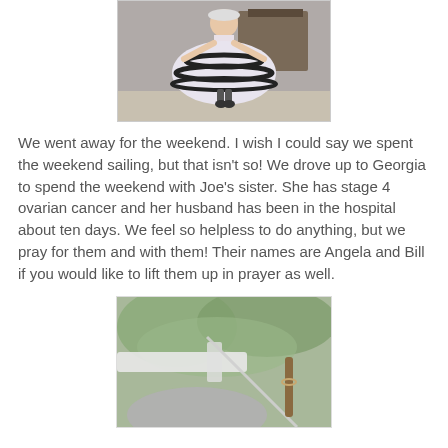[Figure (photo): A young child wearing a white and black layered dress with black trim bands, spinning or posing outdoors near a boat.]
We went away for the weekend. I wish I could say we spent the weekend sailing, but that isn't so! We drove up to Georgia to spend the weekend with Joe's sister. She has stage 4 ovarian cancer and her husband has been in the hospital about ten days. We feel so helpless to do anything, but we pray for them and with them! Their names are Angela and Bill if you would like to lift them up in prayer as well.
[Figure (photo): A blurred outdoor photo showing greenery, a white surface, and what appears to be a gray rounded object in the foreground.]